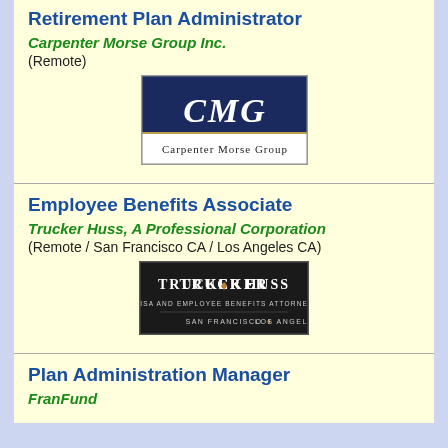Retirement Plan Administrator
Carpenter Morse Group Inc.
(Remote)
[Figure (logo): CMG Carpenter Morse Group logo — dark navy top with cursive CMG initials in white, lower white band with 'Carpenter Morse Group' in black serif text]
Employee Benefits Associate
Trucker Huss, A Professional Corporation
(Remote / San Francisco CA / Los Angeles CA)
[Figure (logo): Trucker Huss logo — dark background with 'TRUCKER ♦ HUSS' in white serif caps, 'ERISA AND EMPLOYEE BENEFITS ATTORNEYS' and 'SAN FRANCISCO ♦ LOS ANGELES' in smaller white text]
Plan Administration Manager
FranFund